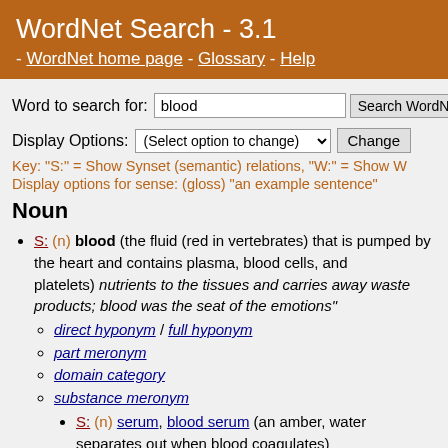WordNet Search - 3.1 - WordNet home page - Glossary - Help
Word to search for: blood [Search WordNet button]
Display Options: (Select option to change) [Change button]
Key: "S:" = Show Synset (semantic) relations, "W:" = Show W
Display options for sense: (gloss) "an example sentence"
Noun
S: (n) blood (the fluid (red in vertebrates) that is pumped by the heart and contains plasma, blood cells, and platelets) nutrients to the tissues and carries away waste products; blood was the seat of the emotions"
direct hyponym / full hyponym
part meronym
domain category
substance meronym
S: (n) serum, blood serum (an amber, wate... separates out when blood coagulates)